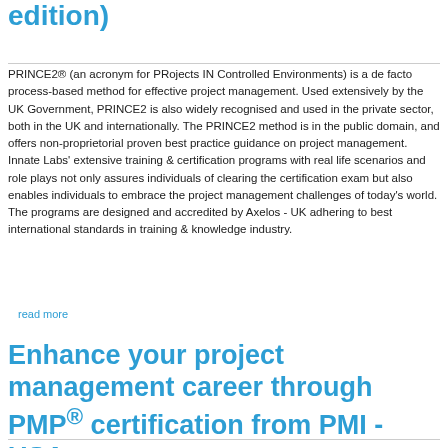edition)
PRINCE2® (an acronym for PRojects IN Controlled Environments) is a de facto process-based method for effective project management. Used extensively by the UK Government, PRINCE2 is also widely recognised and used in the private sector, both in the UK and internationally. The PRINCE2 method is in the public domain, and offers non-proprietorial proven best practice guidance on project management.
Innate Labs' extensive training & certification programs with real life scenarios and role plays not only assures individuals of clearing the certification exam but also enables individuals to embrace the project management challenges of today's world. The programs are designed and accredited by Axelos - UK adhering to best international standards in training & knowledge industry.
read more
Enhance your project management career through PMP® certification from PMI - USA